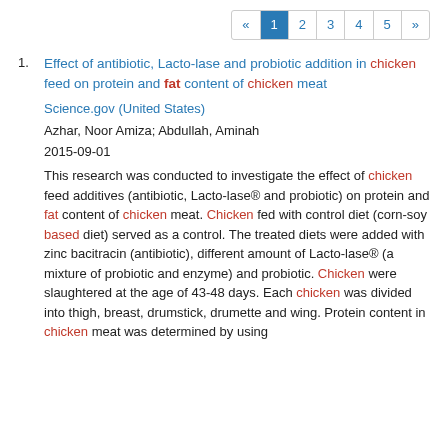« 1 2 3 4 5 »
1. Effect of antibiotic, Lacto-lase and probiotic addition in chicken feed on protein and fat content of chicken meat
Science.gov (United States)
Azhar, Noor Amiza; Abdullah, Aminah
2015-09-01
This research was conducted to investigate the effect of chicken feed additives (antibiotic, Lacto-lase® and probiotic) on protein and fat content of chicken meat. Chicken fed with control diet (corn-soy based diet) served as a control. The treated diets were added with zinc bacitracin (antibiotic), different amount of Lacto-lase® (a mixture of probiotic and enzyme) and probiotic. Chicken were slaughtered at the age of 43-48 days. Each chicken was divided into thigh, breast, drumstick, drumette and wing. Protein content in chicken meat was determined by using